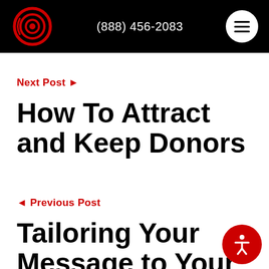(888) 456-2083
Next Post ►
How To Attract and Keep Donors
◄ Previous Post
Tailoring Your Message to Your